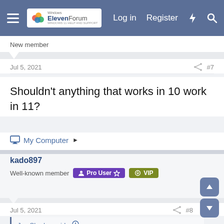Windows ElevenForum | Log in | Register
New member
Jul 5, 2021	#7
Shouldn't anything that works in 10 work in 11?
My Computer ▶
kado897
Well-known member   Pro User ☆   VIP
Jul 5, 2021	#8
Joe Shades said: